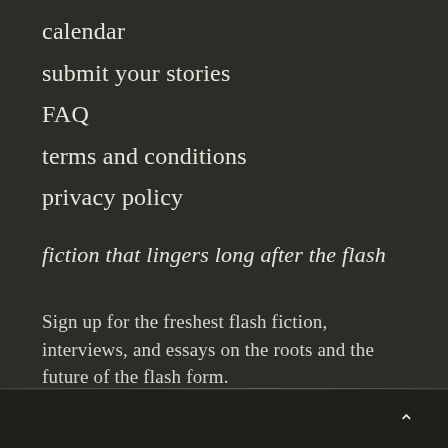calendar
submit your stories
FAQ
terms and conditions
privacy policy
fiction that lingers long after the flash
Sign up for the freshest flash fiction, interviews, and essays on the roots and the future of the flash form.
^